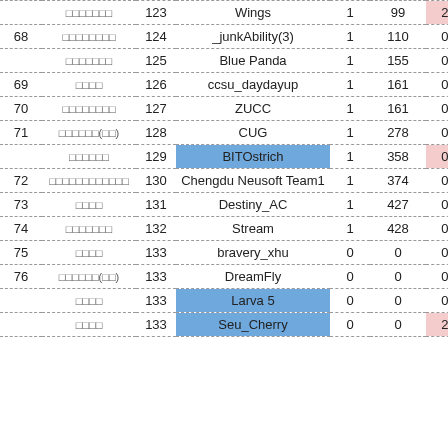| Rank | School | # | Team | Solved | Penalty | Score |
| --- | --- | --- | --- | --- | --- | --- |
|  | □□□□□□□ | 123 | Wings | 1 | 99 | 2/-- |
| 68 | □□□□□□□□ | 124 | _junkAbility(3) | 1 | 110 | 0/-- |
|  | □□□□□□□ | 125 | Blue Panda | 1 | 155 | 0/-- |
| 69 | □□□□ | 126 | ccsu_daydayup | 1 | 161 | 0/-- |
| 70 | □□□□□□□□ | 127 | ZUCC | 1 | 161 | 0/-- |
| 71 | □□□□□□(□□) | 128 | CUG | 1 | 278 | 0/-- |
|  | □□□□□□ | 129 | BITOstrich | 1 | 358 | 0/-- |
| 72 | □□□□□□□□□□□□ | 130 | Chengdu Neusoft Team1 | 1 | 374 | 0/-- |
| 73 | □□□□ | 131 | Destiny_AC | 1 | 427 | 0/-- |
| 74 | □□□□□□□ | 132 | Stream | 1 | 428 | 0/-- |
| 75 | □□□□ | 133 | bravery_xhu | 0 | 0 | 0/-- |
| 76 | □□□□□□(□□) | 133 | DreamFly | 0 | 0 | 0/-- |
|  | □□□□ | 133 | Larva 5 | 0 | 0 | 0/-- |
|  | □□□□ | 133 | Seu_Cherry | 0 | 0 | 2/-- |